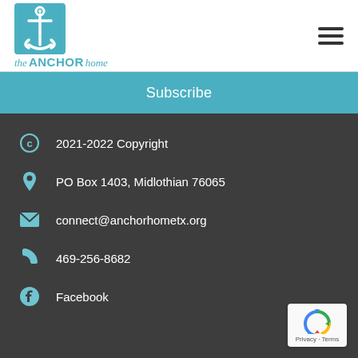[Figure (logo): The Anchor Home logo with teal anchor icon and stylized text reading 'the ANCHOR home']
[Figure (other): Hamburger menu icon (three horizontal lines)]
Subscribe
2021-2022 Copyright
PO Box 1403, Midlothian 76065
connect@anchorhometx.org
469-256-8682
Facebook
[Figure (other): Google reCAPTCHA badge with recycling arrow logo and 'Privacy - Terms' text]